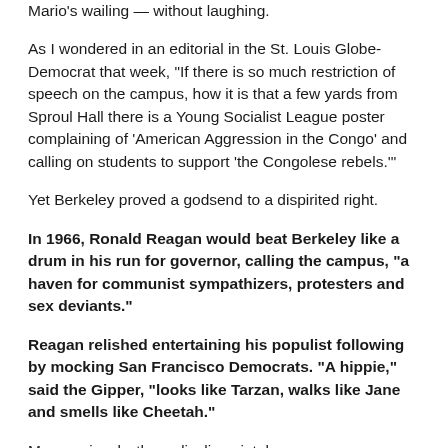Mario's wailing — without laughing.
As I wondered in an editorial in the St. Louis Globe-Democrat that week, "If there is so much restriction of speech on the campus, how it is that a few yards from Sproul Hall there is a Young Socialist League poster complaining of 'American Aggression in the Congo' and calling on students to support 'the Congolese rebels.'"
Yet Berkeley proved a godsend to a dispirited right.
In 1966, Ronald Reagan would beat Berkeley like a drum in his run for governor, calling the campus, "a haven for communist sympathizers, protesters and sex deviants."
Reagan relished entertaining his populist following by mocking San Francisco Democrats. "A hippie," said the Gipper, "looks like Tarzan, walks like Jane and smells like Cheetah."
More seriously, the radicalism, intolerance, arrogance and fanaticism of the far left in the '60s and '70s helped to revive